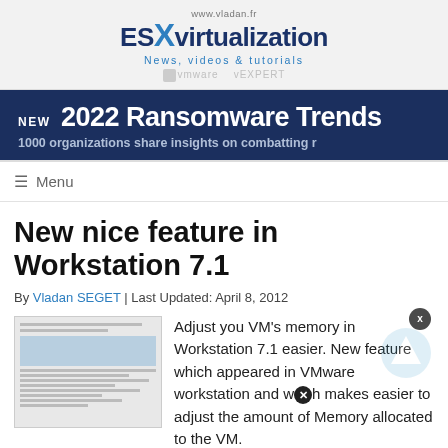www.vladan.fr ESXvirtualization News, videos & tutorials vmware vEXPERT
[Figure (infographic): Dark blue promotional banner: NEW 2022 Ransomware Trends - 1000 organizations share insights on combatting ransomware]
≡  Menu
New nice feature in Workstation 7.1
By Vladan SEGET | Last Updated: April 8, 2012
[Figure (screenshot): Thumbnail of a document page showing VM memory settings]
Adjust you VM's memory in Workstation 7.1 easier. New feature which appeared in VMware workstation and which makes easier to adjust the amount of Memory allocated to the VM.